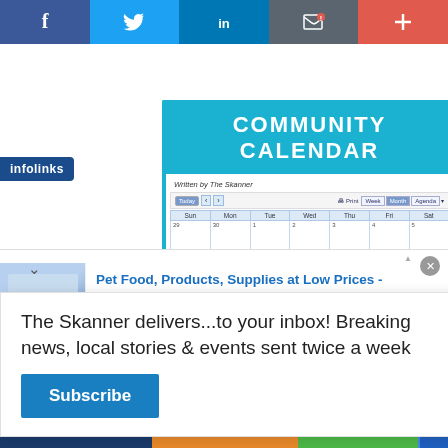[Figure (screenshot): Social media sharing bar with Facebook, Twitter, LinkedIn, email/bookmark, and plus buttons]
[Figure (screenshot): Community Calendar screenshot showing a monthly calendar view from The Skanner newspaper website with teal header and calendar grid]
The Skanner delivers...to your inbox! Breaking news, local stories & events sent twice a week
[Figure (screenshot): Subscribe button popup overlay with close X button]
[Figure (screenshot): Infolinks advertisement badge]
[Figure (screenshot): Pet Food, Products, Supplies at Low Prices - Chewy.com advertisement banner]
[Figure (screenshot): Solar panel advertisement banner - PANELES SOLARES + BATERIA, SE BUSCAN VENDEDORES, 310-467-5410, $1,000 CASH]